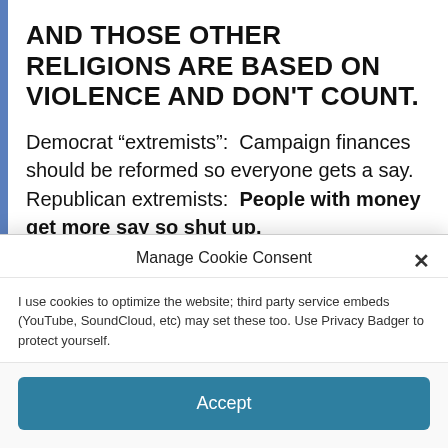AND THOSE OTHER RELIGIONS ARE BASED ON VIOLENCE AND DON'T COUNT.
Democrat “extremists”:  Campaign finances should be reformed so everyone gets a say. Republican extremists:  People with money get more say so shut up.
Democrat “extremists”: Bureaucracy is
Manage Cookie Consent
I use cookies to optimize the website; third party service embeds (YouTube, SoundCloud, etc) may set these too. Use Privacy Badger to protect yourself.
Accept